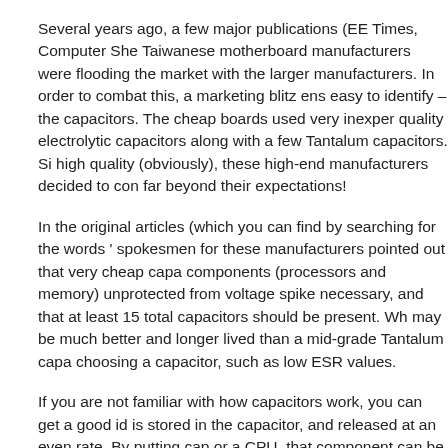Several years ago, a few major publications (EE Times, Computer Sho... Taiwanese motherboard manufacturers were flooding the market with... the larger manufacturers. In order to combat this, a marketing blitz ens... easy to identify – the capacitors. The cheap boards used very inexpen... quality electrolytic capacitors along with a few Tantalum capacitors. Si... high quality (obviously), these high-end manufacturers decided to con... far beyond their expectations!
In the original articles (which you can find by searching for the words '... spokesmen for these manufacturers pointed out that very cheap capa... components (processors and memory) unprotected from voltage spike... necessary, and that at least 15 total capacitors should be present. Wh... may be much better and longer lived than a mid-grade Tantalum capa... choosing a capacitor, such as low ESR values.
If you are not familiar with how capacitors work, you can get a good id... is stored in the capacitor, and released at an even rate. By putting cap... or a CPU, that component can be protected from power spikes. Thou... applications, there are very high quality Aluminum electrolytic capacito... have lower ESR (equivalent series resistance) values than the equival...